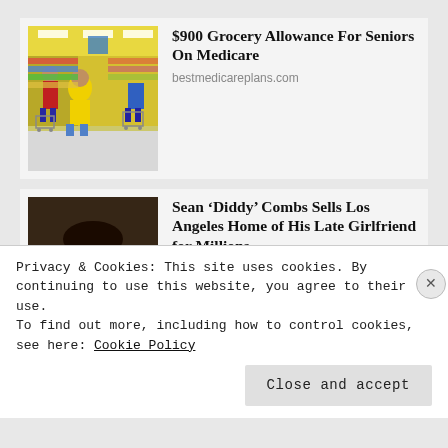[Figure (photo): People shopping in a grocery store aisle with shopping carts]
$900 Grocery Allowance For Seniors On Medicare
bestmedicareplans.com
[Figure (photo): Portrait photo of Sean 'Diddy' Combs wearing sunglasses]
Sean ‘Diddy’ Combs Sells Los Angeles Home of His Late Girlfriend for Millions
Mansion Global
Privacy & Cookies: This site uses cookies. By continuing to use this website, you agree to their use.
To find out more, including how to control cookies, see here: Cookie Policy
Close and accept